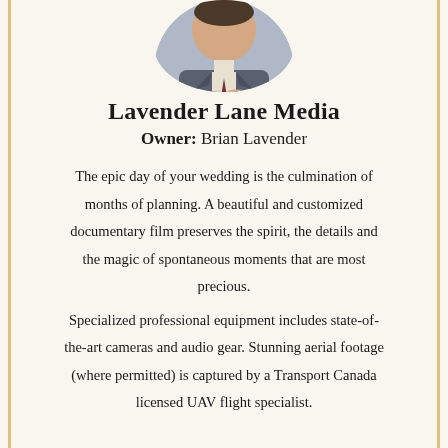[Figure (photo): Circular cropped photo of a man in a suit with arms crossed, showing only the torso and hands]
Lavender Lane Media
Owner: Brian Lavender
The epic day of your wedding is the culmination of months of planning. A beautiful and customized documentary film preserves the spirit, the details and the magic of spontaneous moments that are most precious.
Specialized professional equipment includes state-of-the-art cameras and audio gear. Stunning aerial footage (where permitted) is captured by a Transport Canada licensed UAV flight specialist.